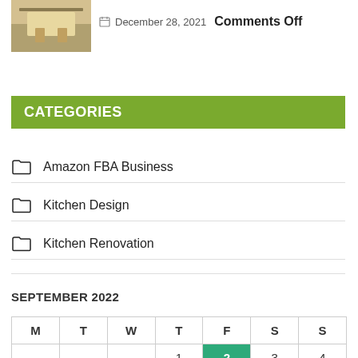[Figure (photo): Thumbnail photo of a kitchen interior with a wooden table and stools]
December 28, 2021  Comments Off
CATEGORIES
Amazon FBA Business
Kitchen Design
Kitchen Renovation
SEPTEMBER 2022
| M | T | W | T | F | S | S |
| --- | --- | --- | --- | --- | --- | --- |
|  |  |  | 1 | 2 | 3 | 4 |